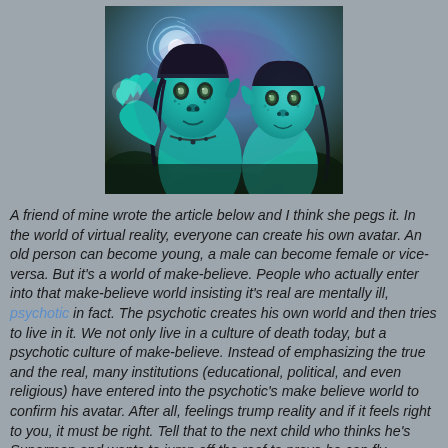[Figure (illustration): Digital illustration of two blue Na'vi characters from Avatar, one reaching out a hand, with a glowing purple/blue alien landscape background.]
A friend of mine wrote the article below and I think she pegs it. In the world of virtual reality, everyone can create his own avatar. An old person can become young, a male can become female or vice-versa. But it's a world of make-believe. People who actually enter into that make-believe world insisting it's real are mentally ill, psychotic in fact. The psychotic creates his own world and then tries to live in it. We not only live in a culture of death today, but a psychotic culture of make-believe. Instead of emphasizing the true and the real, many institutions (educational, political, and even religious) have entered into the psychotic's make believe world to confirm his avatar. After all, feelings trump reality and if it feels right to you, it must be right. Tell that to the next child who thinks he's Superman and wants to jump off the roof to prove he can fly.